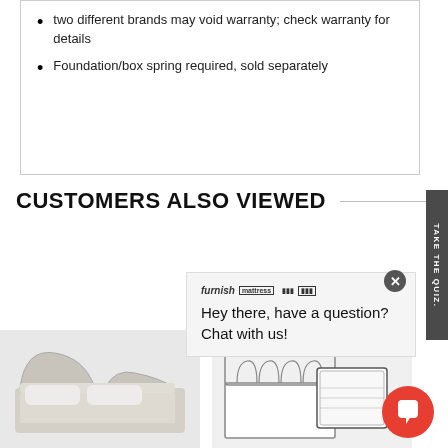two different brands may void warranty; check warranty for details
Foundation/box spring required, sold separately
CUSTOMERS ALSO VIEWED
Hey there, have a question? Chat with us!
[Figure (photo): White sleigh bed with bedding]
[Figure (photo): Metal bed frame and mattress]